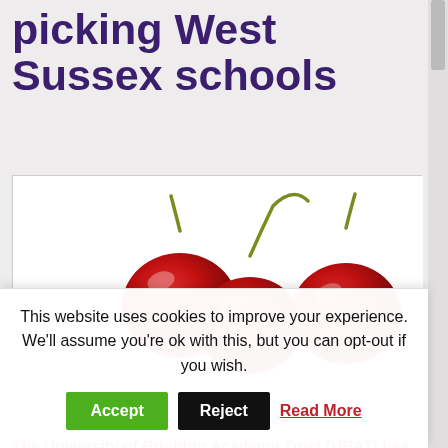picking West Sussex schools
[Figure (photo): Three red cherries with stems on a white background]
The University of Brighton Academy Trust (UBAT) has dropped its take-over of Southgate Primary School, Crawley because it found out the school was in special measures.
This goes against one of the key principles of the
This website uses cookies to improve your experience. We'll assume you're ok with this, but you can opt-out if you wish. Accept Reject Read More